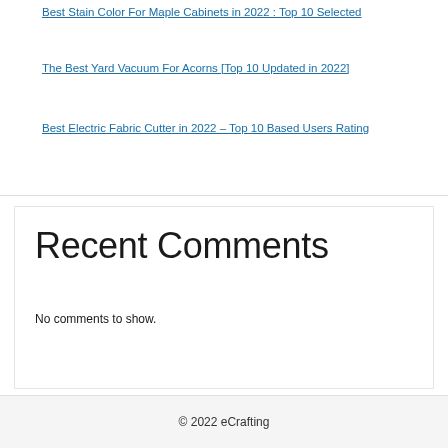Best Stain Color For Maple Cabinets in 2022 : Top 10 Selected
The Best Yard Vacuum For Acorns [Top 10 Updated in 2022]
Best Electric Fabric Cutter in 2022 – Top 10 Based Users Rating
Recent Comments
No comments to show.
© 2022 eCrafting